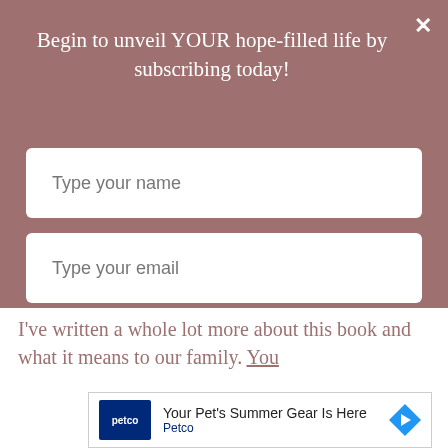Begin to unveil YOUR hope-filled life by subscribing today!
Type your name
Type your email
SUBMIT
I've written a whole lot more about this book and what it means to our family. You
[Figure (screenshot): Petco advertisement banner showing Petco logo, text 'Your Pet's Summer Gear Is Here', 'Petco' link, and a blue diamond-shaped arrow icon, with play and close controls below]